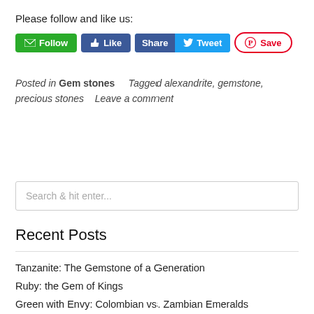Please follow and like us:
[Figure (screenshot): Social media buttons: Follow (green), Like (blue), Share/Tweet (blue), Save (Pinterest red/white)]
Posted in Gem stones   Tagged alexandrite, gemstone, precious stones   Leave a comment
Search & hit enter...
Recent Posts
Tanzanite: The Gemstone of a Generation
Ruby: the Gem of Kings
Green with Envy: Colombian vs. Zambian Emeralds